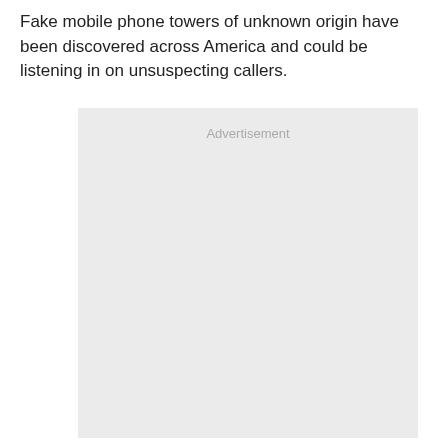Fake mobile phone towers of unknown origin have been discovered across America and could be listening in on unsuspecting callers.
[Figure (other): Advertisement placeholder box with light grey background and 'Advertisement' label text]